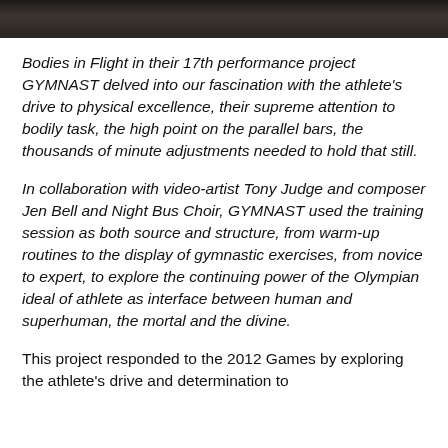[Figure (photo): Partial photograph cropped at top of page, dark tones suggesting an indoor performance or athletic setting]
Bodies in Flight in their 17th performance project GYMNAST delved into our fascination with the athlete's drive to physical excellence, their supreme attention to bodily task, the high point on the parallel bars, the thousands of minute adjustments needed to hold that still.
In collaboration with video-artist Tony Judge and composer Jen Bell and Night Bus Choir, GYMNAST used the training session as both source and structure, from warm-up routines to the display of gymnastic exercises, from novice to expert, to explore the continuing power of the Olympian ideal of athlete as interface between human and superhuman, the mortal and the divine.
This project responded to the 2012 Games by exploring the athlete's drive and determination to